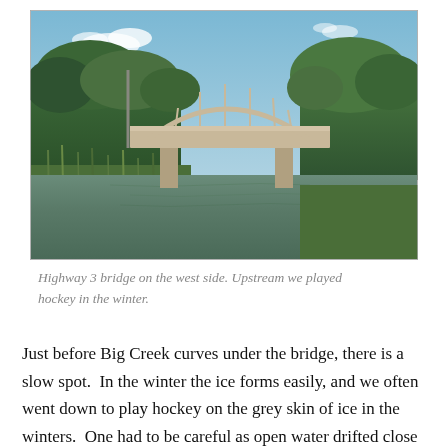[Figure (photo): Photograph of a concrete arch bridge (Highway 3 bridge) spanning Big Creek, viewed from downstream. Lush green trees line both banks, tall reeds and grass in the foreground, calm water reflecting the bridge. Blue sky with wispy clouds above.]
Highway 3 bridge on the west side. Upstream we played hockey in the winter.
Just before Big Creek curves under the bridge, there is a slow spot.  In the winter the ice forms easily, and we often went down to play hockey on the grey skin of ice in the winters.  One had to be careful as open water drifted close